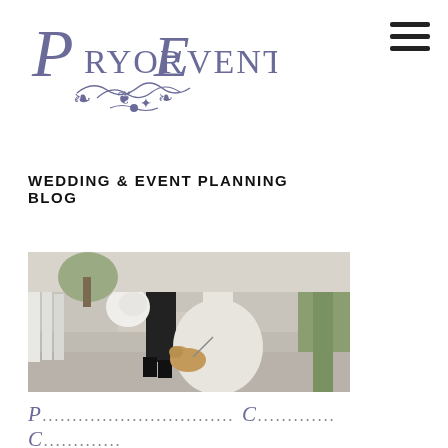[Figure (logo): Pryor Events logo with decorative script lettering in slate blue/purple and ornamental flourish below]
WEDDING & EVENT PLANNING BLOG
[Figure (photo): Wedding couple standing outdoors - groom in dark suit, bride in white lace gown, with a small fluffy dog on a leash between them. Outdoor setting with trees and pathway visible.]
P... C... C...